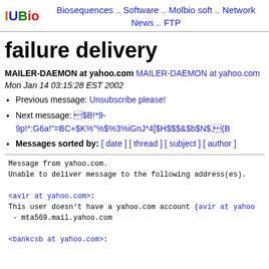IUBio  Biosequences .. Software .. Molbio soft .. Network News .. FTP
failure delivery
MAILER-DAEMON at yahoo.com MAILER-DAEMON at yahoo.com
Mon Jan 14 03:15:28 EST 2002
Previous message: Unsubscribe please!
Next message: $B!*9-9p!*:G6a!"=BC+$K%"%$%3%iGnJ*4[$H$$$&$b$N$,(B
Messages sorted by: [ date ] [ thread ] [ subject ] [ author ]
Message from yahoo.com.
Unable to deliver message to the following address(es).

<avir at yahoo.com>:
This user doesn't have a yahoo.com account (avir at yahoo
 - mta569.mail.yahoo.com

<bankcsb at yahoo.com>: